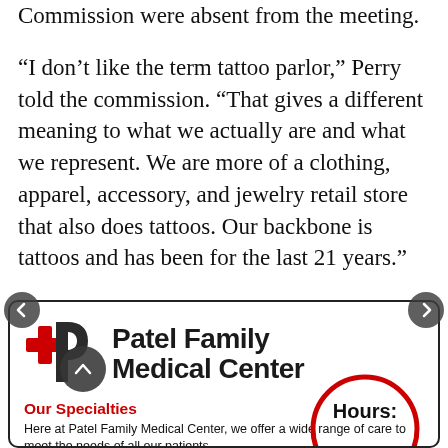Commission were absent from the meeting.
“I don’t like the term tattoo parlor,” Perry told the commission. “That gives a different meaning to what we actually are and what we represent. We are more of a clothing, apparel, accessory, and jewelry retail store that also does tattoos. Our backbone is tattoos and has been for the last 21 years.”
[Figure (illustration): Advertisement for Patel Family Medical Center showing logo with red cross and dark P letter, specialties text, and partial hours circle.]